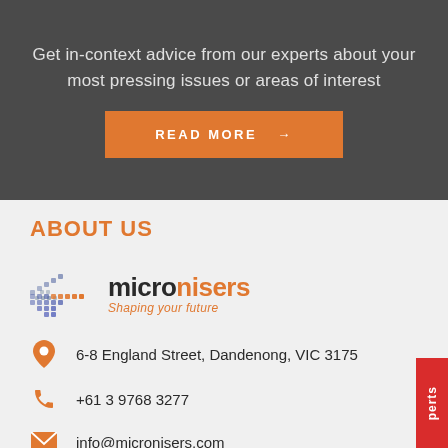Get in-context advice from our experts about your most pressing issues or areas of interest
READ MORE →
ABOUT US
[Figure (logo): Micronisers logo with arrow graphic and tagline 'Shaping your future']
6-8 England Street, Dandenong, VIC 3175
+61 3 9768 3277
info@micronisers.com